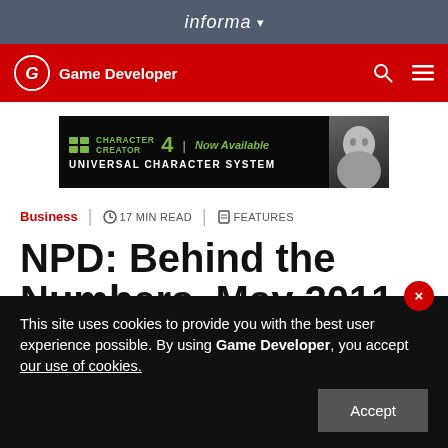informa ▾
Game Developer
[Figure (screenshot): Character Creator 4 - Now Available - Universal Character System advertisement banner]
Business | 🕐 17 MIN READ | 📋 FEATURES
NPD: Behind the Numbers, May 2011
This site uses cookies to provide you with the best user experience possible. By using Game Developer, you accept our use of cookies.